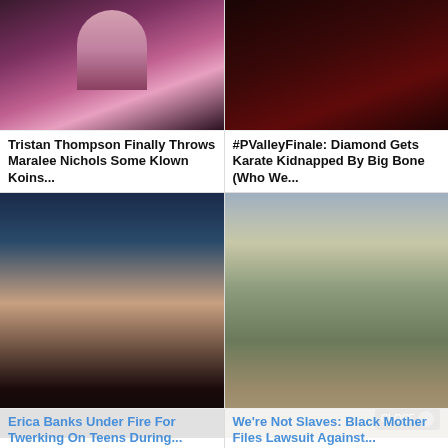[Figure (photo): Man in pink floral shirt with chain necklace]
[Figure (photo): Person in dark red lighting, close-up face]
Tristan Thompson Finally Throws Maralee Nichols Some Klown Koins...
#PValleyFinale: Diamond Gets Karate Kidnapped By Big Bone (Who We...
[Figure (photo): Woman with sleek hair at BET awards event, glamorous makeup, black outfit]
[Figure (photo): Historical photo of Black men working in a field or rocky area]
Erica Banks Under Fire For Twerking On Teens During...
We're Not Slaves: Black Mother Files Lawsuit Against...